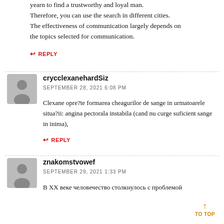yearn to find a trustworthy and loyal man. Therefore, you can use the search in different cities. The effectiveness of communication largely depends on the topics selected for communication.
← REPLY
crycclexanehardSiz
SEPTEMBER 28, 2021 6:08 PM
Clexane opre?te formarea cheagurilor de sange in urmatoarele situa?ii: angina pectorala instabila (cand nu curge suficient sange in inima),
← REPLY
znakomstvowef
SEPTEMBER 29, 2021 1:33 PM
В ХХ веке человечество столкнулось с проблемой